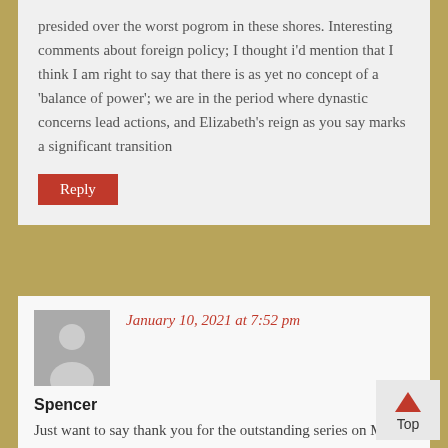presided over the worst pogrom in these shores. Interesting comments about foreign policy; I thought i'd mention that I think I am right to say that there is as yet no concept of a 'balance of power'; we are in the period where dynastic concerns lead actions, and Elizabeth's reign as you say marks a significant transition
Reply
January 10, 2021 at 7:52 pm
Spencer
Just want to say thank you for the outstanding series on Mary. I knew little about her, aside from her well-earned nickname. I find it very difficult to feel sympathy for most of these privileged (and not-so-